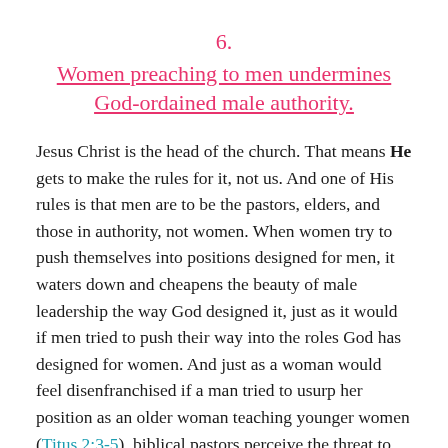6.
Women preaching to men undermines God-ordained male authority.
Jesus Christ is the head of the church. That means He gets to make the rules for it, not us. And one of His rules is that men are to be the pastors, elders, and those in authority, not women. When women try to push themselves into positions designed for men, it waters down and cheapens the beauty of male leadership the way God designed it, just as it would if men tried to push their way into the roles God has designed for women. And just as a woman would feel disenfranchised if a man tried to usurp her position as an older woman teaching younger women (Titus 2:3-5), biblical pastors perceive the threat to their God-given authority as more and